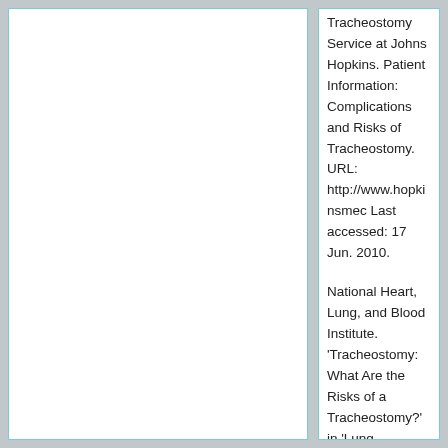Tracheostomy Service at Johns Hopkins. Patient Information: Complications and Risks of Tracheostomy. URL: http://www.hopkinsmec Last accessed: 17 Jun. 2010.
National Heart, Lung, and Blood Institute. 'Tracheostomy: What Are the Risks of a Tracheostomy?' in 'Lung Diseases' in Diseases and Conditions Index.